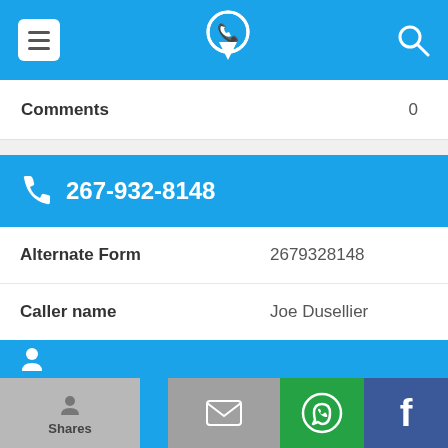[Figure (screenshot): Top navigation bar with hamburger menu icon, phone/location app logo in center, and search icon on right, all on blue background]
| Comments | 0 |
| 267-932-8148 |  |
| Alternate Form | 2679328148 |
| Caller name | Joe Dusellier |
| Last User Search | 06/14/21, 3:34 pm by a ... |
| Comments | 0 |
[Figure (screenshot): Bottom share bar with Shares label (gray), email icon (gray), WhatsApp icon (green), Facebook icon (blue/purple)]